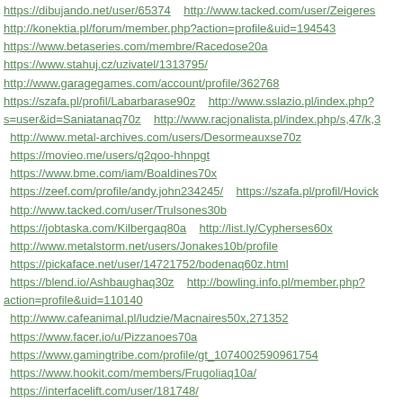https://dibujando.net/user/65374    http://www.tacked.com/user/Zeigeres
http://konektia.pl/forum/member.php?action=profile&uid=194543
https://www.betaseries.com/membre/Racedose20a
https://www.stahuj.cz/uzivatel/1313795/
http://www.garagegames.com/account/profile/362768
https://szafa.pl/profil/Labarbarase90z    http://www.sslazio.pl/index.php?s=user&id=Saniatanaq70z    http://www.racjonalista.pl/index.php/s,47/k,3
http://www.metal-archives.com/users/Desormeauxse70z
https://movieo.me/users/q2qoo-hhnpgt
https://www.bme.com/iam/Boaldines70x
https://zeef.com/profile/andy.john234245/    https://szafa.pl/profil/Hovick
http://www.tacked.com/user/Trulsones30b
https://jobtaska.com/Kilbergaq80a    http://list.ly/Cypherses60x
http://www.metalstorm.net/users/Jonakes10b/profile
https://pickaface.net/user/14721752/bodenaq60z.html
https://blend.io/Ashbaughaq30z    http://bowling.info.pl/member.php?action=profile&uid=110140
http://www.cafeanimal.pl/ludzie/Macnaires50x,271352
https://www.facer.io/u/Pizzanoes70a
https://www.gamingtribe.com/profile/gt_1074002590961754
https://www.hookit.com/members/Frugoliaq10a/
https://interfacelift.com/user/181748/
http://www.koinup.com/Dangeraq40a/skills/
https://pinshape.com/users/1565213-vandeeaq10z
https://www.gamingtribe.com/profile/gt_5909109713509679
https://startupmatcher.com/p/bozemnkaobama-26
http://www.divephotoguide.com/user/Baezaq60b
http://www.mobypicture.com/user/Elderkines20z
https://prijet.com/user/andrew%20Ford
http://clausraasted.dk/forum/member.php?u=28852